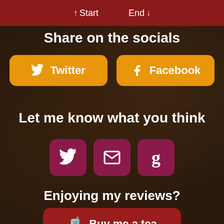↑ Start   End ↓
Share on the socials
[Figure (other): Two orange rounded buttons: Twitter (with bird icon) and Facebook (with f icon)]
Let me know what you think
[Figure (other): Three dark pink/maroon square icon buttons: Twitter bird, envelope/email, and Goodreads 'g']
Enjoying my reviews?
[Figure (other): Red rounded button: Buy me a tea (with tea cup emoji)]